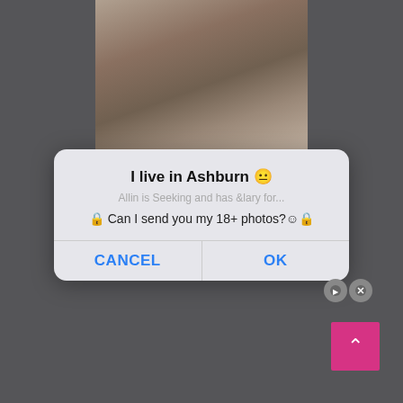[Figure (screenshot): A screenshot of a mobile browser showing a pop-up dialog overlay on top of a blurred photo. The dialog reads 'I live in Ashburn' with an emoji, a blurred subtitle, and the message '🔒 Can I send you my 18+ photos?☺️🔒'. Two buttons: CANCEL and OK in blue. Below the dialog is a dark grey background with small close icons and a pink scroll-to-top button.]